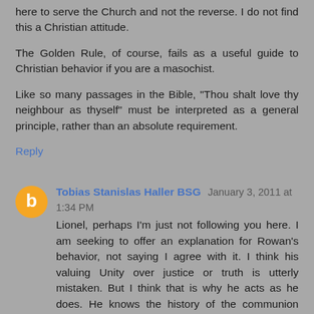here to serve the Church and not the reverse. I do not find this a Christian attitude.
The Golden Rule, of course, fails as a useful guide to Christian behavior if you are a masochist.
Like so many passages in the Bible, "Thou shalt love thy neighbour as thyself" must be interpreted as a general principle, rather than an absolute requirement.
Reply
Tobias Stanislas Haller BSG  January 3, 2011 at 1:34 PM
Lionel, perhaps I'm just not following you here. I am seeking to offer an explanation for Rowan's behavior, not saying I agree with it. I think his valuing Unity over justice or truth is utterly mistaken. But I think that is why he acts as he does. He knows the history of the communion very well, but thinks a movement towards greater centralization and unity is a good thing. That is his "value." I can disagree with that "value" -- as I have -- without calling him a liar or